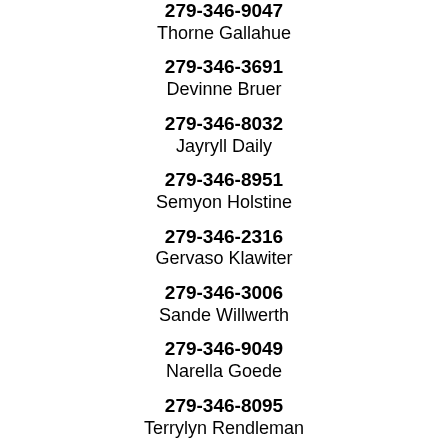279-346-9047
Thorne Gallahue
279-346-3691
Devinne Bruer
279-346-8032
Jayryll Daily
279-346-8951
Semyon Holstine
279-346-2316
Gervaso Klawiter
279-346-3006
Sande Willwerth
279-346-9049
Narella Goede
279-346-8095
Terrylyn Rendleman
279-346-0457
Leonardo Khurana